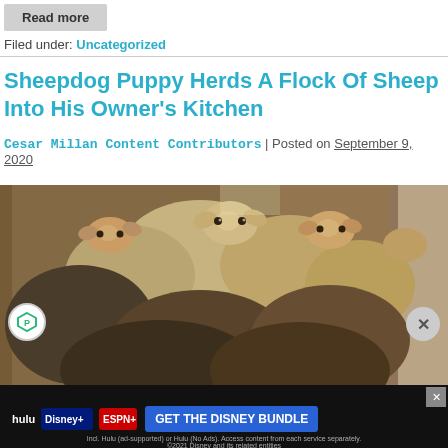Read more
Filed under: Uncategorized
Sheepdog Puppy Herds A Flock Of Sheep Into His Owner’s Kitchen
Cesar Millan Content Contributors | Posted on September 9, 2020
[Figure (photo): A flock of sheep crowded inside a kitchen doorway, viewed from inside the kitchen. The sheep are closely packed, with their heads visible. The image has a warm yellowish tone.]
[Figure (infographic): Disney Bundle advertisement banner showing Hulu, Disney+, and ESPN+ logos with text 'GET THE DISNEY BUNDLE' and fine print about subscription terms. A close button (X) is visible on the right side.]